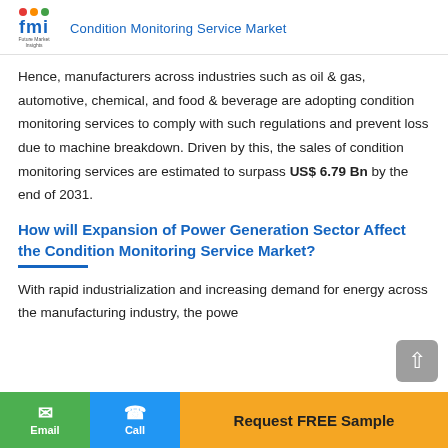Condition Monitoring Service Market
Hence, manufacturers across industries such as oil & gas, automotive, chemical, and food & beverage are adopting condition monitoring services to comply with such regulations and prevent loss due to machine breakdown. Driven by this, the sales of condition monitoring services are estimated to surpass US$ 6.79 Bn by the end of 2031.
How will Expansion of Power Generation Sector Affect the Condition Monitoring Service Market?
With rapid industrialization and increasing demand for energy across the manufacturing industry, the powe